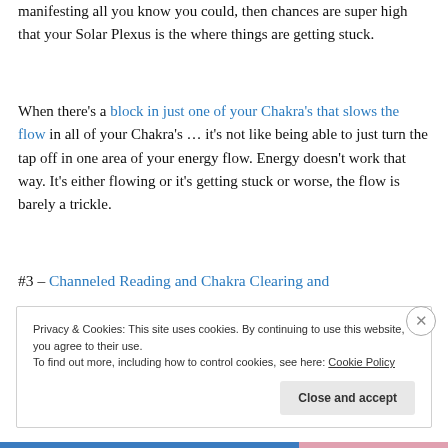manifesting all you know you could, then chances are super high that your Solar Plexus is the where things are getting stuck.
When there's a block in just one of your Chakra's that slows the flow in all of your Chakra's … it's not like being able to just turn the tap off in one area of your energy flow. Energy doesn't work that way. It's either flowing or it's getting stuck or worse, the flow is barely a trickle.
#3 – Channeled Reading and Chakra Clearing and
Privacy & Cookies: This site uses cookies. By continuing to use this website, you agree to their use.
To find out more, including how to control cookies, see here: Cookie Policy
Close and accept